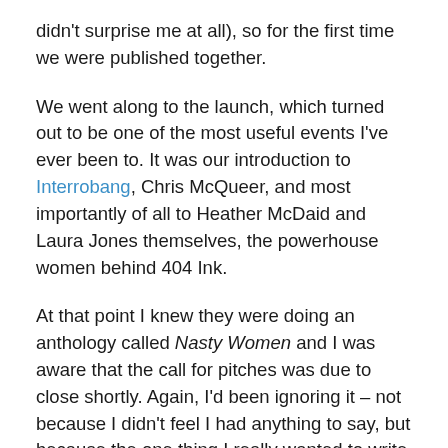didn't surprise me at all), so for the first time we were published together.
We went along to the launch, which turned out to be one of the most useful events I've ever been to. It was our introduction to Interrobang, Chris McQueer, and most importantly of all to Heather McDaid and Laura Jones themselves, the powerhouse women behind 404 Ink.
At that point I knew they were doing an anthology called Nasty Women and I was aware that the call for pitches was due to close shortly. Again, I'd been ignoring it – not because I didn't feel I had anything to say, but because the one thing I really wanted to write about was so damn personal that I didn't really want to write the pitch. That changed when I actually met Heather and Laura in person and decided that I liked them and thought